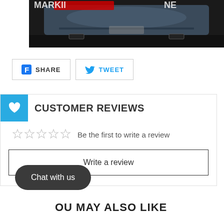[Figure (photo): Dark background automotive photo showing rear of a blue/silver car with exhaust tips, partially cropped at top with text overlay (partially redacted)]
[Figure (other): Facebook SHARE button and Twitter TWEET button side by side]
CUSTOMER REVIEWS
Be the first to write a review
Write a review
Chat with us
YOU MAY ALSO LIKE